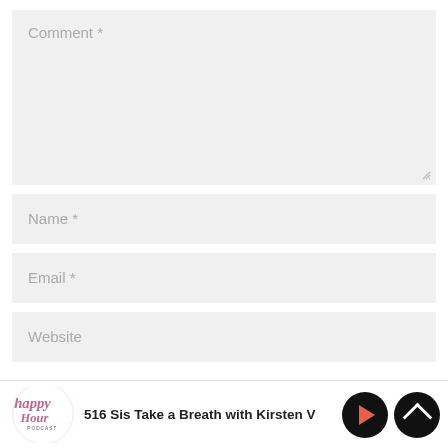[Figure (screenshot): Comment textarea input field with placeholder text 'Comment *' and resize handle at bottom right]
[Figure (screenshot): Name input field with placeholder text 'Name *']
[Figure (screenshot): Email input field with placeholder text 'Email *']
[Figure (screenshot): Website input field with placeholder text 'Website']
[Figure (screenshot): Podcast player bar at bottom showing 'The Happy Hour' logo, episode title '516 Sis Take a Breath with Kirsten V', play button and chevron up button]